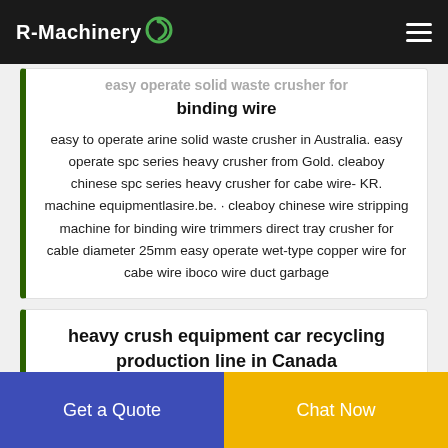R-Machinery
easy operate solid waste crusher for binding wire
easy to operate arine solid waste crusher in Australia. easy operate spc series heavy crusher from Gold. cleaboy chinese spc series heavy crusher for cabe wire- KR. machine equipmentlasire.be. · cleaboy chinese wire stripping machine for binding wire trimmers direct tray crusher for cable diameter 25mm easy operate wet-type copper wire for cabe wire iboco wire duct garbage
heavy crush equipment car recycling production line in Canada
Get a Quote
Chat Now